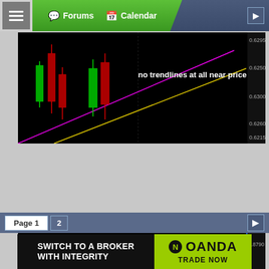[Figure (screenshot): Website navigation bar with Forums and Calendar tabs on dark blue/green background]
[Figure (continuous-plot): Candlestick chart on black background with magenta and yellow diagonal trendlines. Text overlay: 'no trendlines at all near price'. Red and green candles visible. Price axis on right showing values around 0.6295-0.6315.]
Attached Image (click to enlarge)
[Figure (continuous-plot): Candlestick chart on black background with horizontal yellow and green support/resistance lines. Blue border on right. Label '< 212:24' visible in yellow. Red and green candles trending downward. Price axis on right showing values 0.8685-0.8790.]
[Figure (screenshot): Pagination bar showing Page 1 and 2 buttons on dark blue background]
[Figure (screenshot): Advertisement banner: 'SWITCH TO A BROKER WITH INTEGRITY' on black left side, OANDA logo and 'TRADE NOW' on green right side]